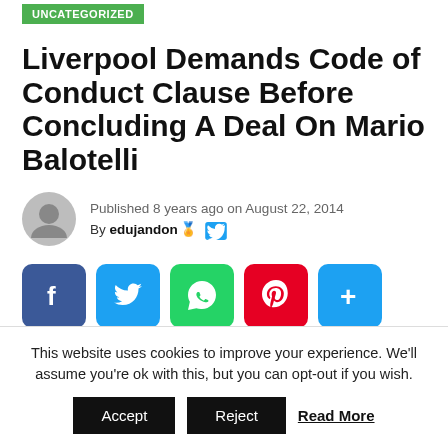UNCATEGORIZED
Liverpool Demands Code of Conduct Clause Before Concluding A Deal On Mario Balotelli
Published 8 years ago on August 22, 2014
By edujandon 🏅 [Twitter]
[Figure (infographic): Social share buttons: Facebook, Twitter, WhatsApp, Pinterest, Share (plus icon)]
This website uses cookies to improve your experience. We'll assume you're ok with this, but you can opt-out if you wish.
Accept | Reject | Read More